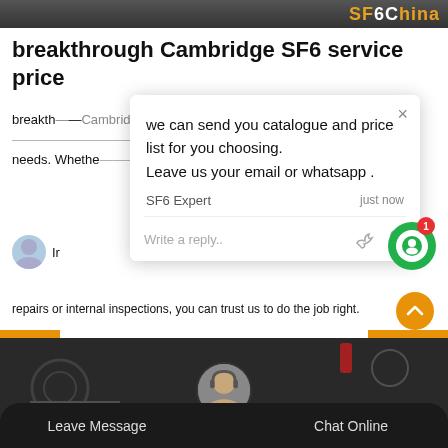SF6China
breakthrough Cambridge SF6 service price
breakthrough Cambridge SF6 service price sf6 leak testing for transformer maintenance equipment, expertise and experience meeting all your demanding needs. Whether you want to degasify or...
[Figure (screenshot): Chat popup overlay with message: 'we can send you catalogue and price list for you choosing. Leave us your email or whatsapp .' from SF6 Expert, just now. Below is a reply text input bar with thumbs-up and paperclip icons.]
repairs or internal inspections, you can trust us to do the job right.
[Figure (screenshot): Bottom dark section with a support agent photo thumbnail, Leave Message and Chat Online buttons in a rounded dark bar.]